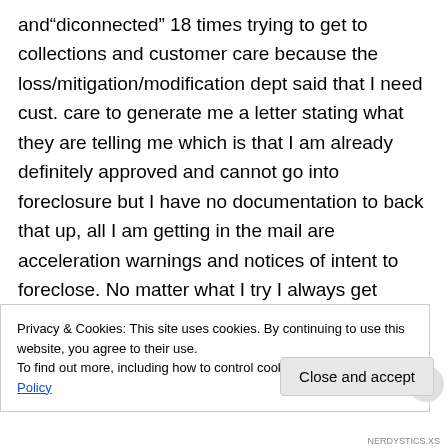and“diconnected” 18 times trying to get to collections and customer care because the loss/mitigation/modification dept said that I need cust. care to generate me a letter stating what they are telling me which is that I am already definitely approved and cannot go into foreclosure but I have no documentation to back that up, all I am getting in the mail are acceleration warnings and notices of intent to foreclose. No matter what I try I always get routed to loss/mitigation/modification and the
Privacy & Cookies: This site uses cookies. By continuing to use this website, you agree to their use.
To find out more, including how to control cookies, see here: Cookie Policy
NERDYSTICS.XS